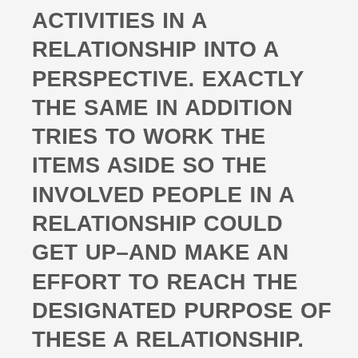ACTIVITIES IN A RELATIONSHIP INTO A PERSPECTIVE. EXACTLY THE SAME IN ADDITION TRIES TO WORK THE ITEMS ASIDE SO THE INVOLVED PEOPLE IN A RELATIONSHIP COULD GET UP–AND MAKE AN EFFORT TO REACH THE DESIGNATED PURPOSE OF THESE A RELATIONSHIP. TO BE ABLE TO MAKE LASTING SECURITIES IN A RELATIONSHIP, THE ADORE AND COMMITMENT GUIDANCE IS USUALLY ACCOMPANIED BY SOME IDEAS IN MANY ASSOCIATED WITH THE COVERS. OBVIOUSLY, THIS IS EXACTLY ASSOCIATED WITH A NUMBER OF TECHNIQUES AND GUIDELINES TO ACHIEVE THE SAME.